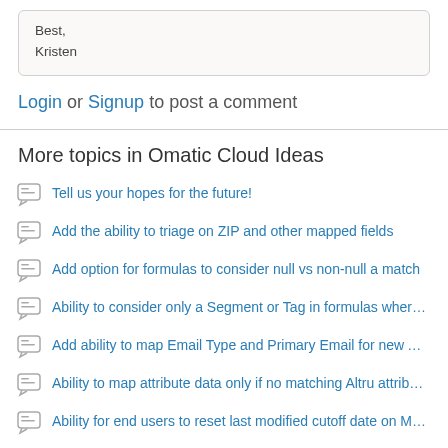Best,
Kristen
Login or Signup to post a comment
More topics in Omatic Cloud Ideas
Tell us your hopes for the future!
Add the ability to triage on ZIP and other mapped fields
Add option for formulas to consider null vs non-null a match
Ability to consider only a Segment or Tag in formulas where MC i...
Add ability to map Email Type and Primary Email for new Altru re...
Ability to map attribute data only if no matching Altru attribute found
Ability for end users to reset last modified cutoff date on Mailchim...
Allow Groups filter to exclude a group instead of include
Make column order in data grids "sticky" per user
Enable Display of Mailchimp Status in summary field